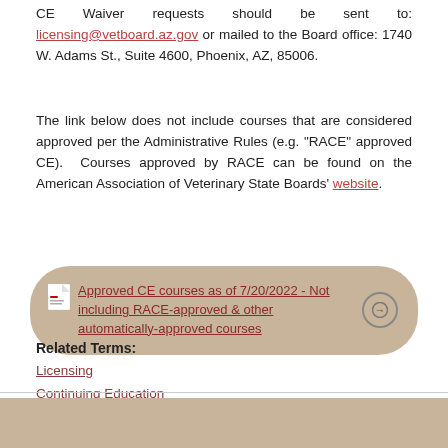CE Waiver requests should be sent to: licensing@vetboard.az.gov or mailed to the Board office: 1740 W. Adams St., Suite 4600, Phoenix, AZ, 85006.
The link below does not include courses that are considered approved per the Administrative Rules (e.g. "RACE" approved CE). Courses approved by RACE can be found on the American Association of Veterinary State Boards' website.
[Figure (other): A rounded button/link element with tan/beige background showing a PDF icon and the text 'Approved CE courses as of 7/20/2022 - Not including RACE-approved & other automatically-approved courses' with a circular arrow icon on the right.]
Related Terms:
Licensing
Continuing Education